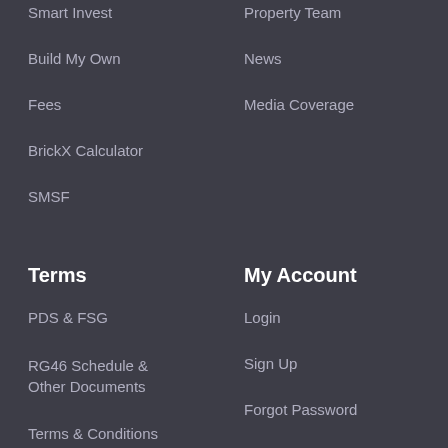Smart Invest
Property Team
Build My Own
News
Fees
Media Coverage
BrickX Calculator
SMSF
Terms
My Account
PDS & FSG
Login
RG46 Schedule & Other Documents
Sign Up
Terms & Conditions
Forgot Password
Privacy Policy
Complaints